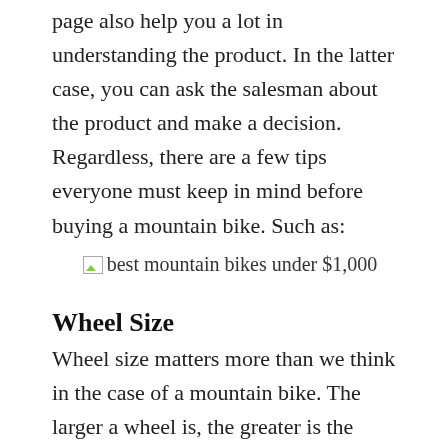page also help you a lot in understanding the product. In the latter case, you can ask the salesman about the product and make a decision. Regardless, there are a few tips everyone must keep in mind before buying a mountain bike. Such as:
[Figure (photo): Broken/missing image placeholder with alt text: best mountain bikes under $1,000]
Wheel Size
Wheel size matters more than we think in the case of a mountain bike. The larger a wheel is, the greater is the speed of the bike. When you have to pedal faster to move uphill or reach somewhere, large wheels will be beneficial. Most of the mountain bikes have 26 inches wheels, some have larger, and some got smaller wheels. Twenty-six are usually great for a